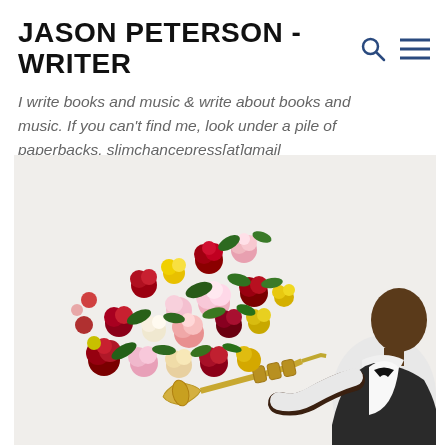JASON PETERSON - WRITER
I write books and music & write about books and music. If you can't find me, look under a pile of paperbacks. slimchancepress[at]gmail
[Figure (photo): Black and white photo of a trumpet player with colorful flowers bursting from the trumpet bell against a light background]